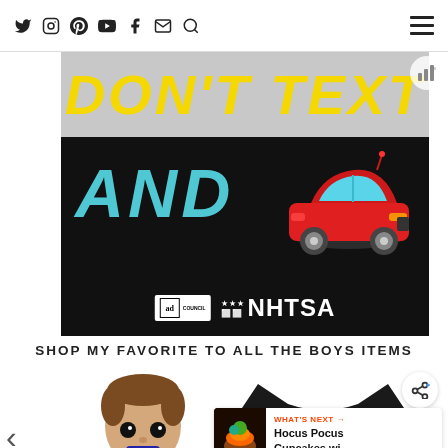Navigation bar with social icons: Twitter, Instagram, Pinterest, YouTube, Facebook, Email, Search, and hamburger menu
[Figure (photo): NHTSA/Ad Council public service ad: black background with yellow bold italic text 'DON'T TEXT' at top (partially cropped), cyan bold italic 'AND' with a red car emoji/illustration, and Ad Council + NHTSA logos at the bottom]
SHOP MY FAVORITE TO ALL THE BOYS ITEMS
[Figure (photo): Product carousel showing a Funko Pop figure (male character with brown hair) on the left and a black t-shirt with 'To All the Boys I've Loved Before' text in pink on the right, with left and right navigation arrows]
WHAT'S NEXT → Hocus Pocus Cupcakes wi...